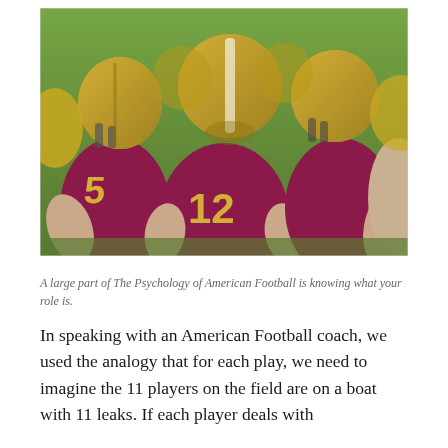[Figure (photo): American football players in maroon and gold uniforms huddled together on a field. The player in the center wears jersey number 12. All players are wearing gold helmets and have their backs to the camera.]
A large part of The Psychology of American Football is knowing what your role is.
In speaking with an American Football coach, we used the analogy that for each play, we need to imagine the 11 players on the field are on a boat with 11 leaks. If each player deals with